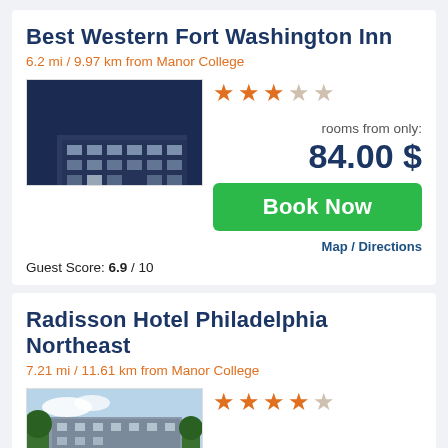Best Western Fort Washington Inn
6.2 mi / 9.97 km from Manor College
[Figure (photo): Night-time exterior photo of Best Western Fort Washington Inn, showing hotel building with a green historic trolley/streetcar in the foreground and illuminated parking area.]
★★★☆☆ (2.5 stars out of 5)
rooms from only: 84.00 $
Book Now
Guest Score: 6.9 / 10
Map / Directions
Radisson Hotel Philadelphia Northeast
7.21 mi / 11.61 km from Manor College
[Figure (photo): Exterior photo of Radisson Hotel Philadelphia Northeast, daytime view showing building facade with trees.]
★★★★☆ (3.5 stars out of 5)